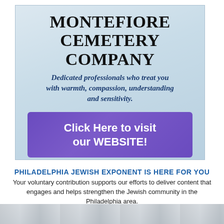[Figure (infographic): Montefiore Cemetery Company advertisement with light blue gradient background. Contains company name in large serif bold font, italic tagline about dedicated professionals, a purple 'Click Here to visit our WEBSITE!' button, and address '600 Church Road, Jenkintown PA 215-663-1250'.]
PHILADELPHIA JEWISH EXPONENT IS HERE FOR YOU
Your voluntary contribution supports our efforts to deliver content that engages and helps strengthen the Jewish community in the Philadelphia area.
CONTRIBUTE